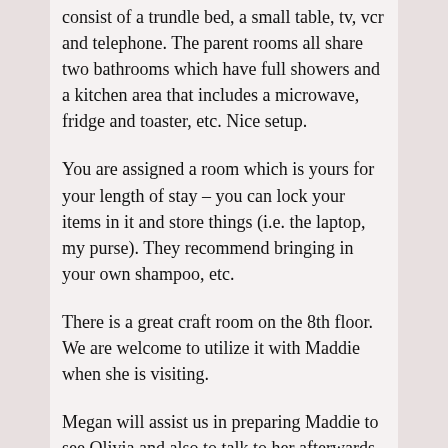consist of a trundle bed, a small table, tv, vcr and telephone. The parent rooms all share two bathrooms which have full showers and a kitchen area that includes a microwave, fridge and toaster, etc. Nice setup.
You are assigned a room which is yours for your length of stay – you can lock your items in it and store things (i.e. the laptop, my purse). They recommend bringing in your own shampoo, etc.
There is a great craft room on the 8th floor. We are welcome to utilize it with Maddie when she is visiting.
Megan will assist us in preparing Maddie to see Olivia and also to talk to her afterwards. She is willing to allow Christopher to also visit her in the PICU and agreed it would help Maddie to cope if Christopher has seen what she has.
Each patient in the PICU has his / her own room. There is a rocking chair in there. We didn't get a good look into one but did catch a glance of a child on a ventilator. That was